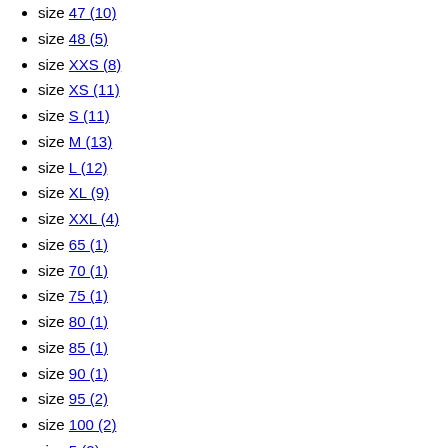size 47 (10)
size 48 (5)
size XXS (8)
size XS (11)
size S (11)
size M (13)
size L (12)
size XL (9)
size XXL (4)
size 65 (1)
size 70 (1)
size 75 (1)
size 80 (1)
size 85 (1)
size 90 (1)
size 95 (2)
size 100 (2)
size 5 (2)
size 105 (2)
size 110 (2)
size 60 (1)
size U (21)
Gender